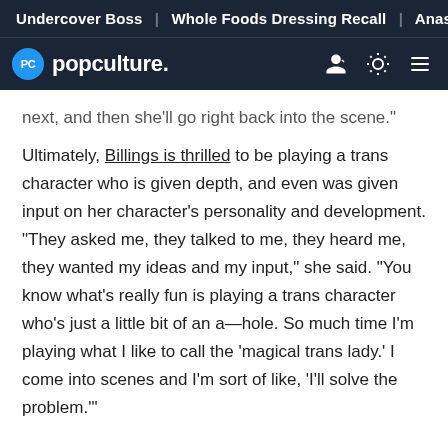Undercover Boss | Whole Foods Dressing Recall | Anastasia
PC popculture.
next, and then she'll go right back into the scene."
Ultimately, Billings is thrilled to be playing a trans character who is given depth, and even was given input on her character's personality and development. "They asked me, they talked to me, they heard me, they wanted my ideas and my input," she said. "You know what's really fun is playing a trans character who's just a little bit of an a—hole. So much time I'm playing what I like to call the 'magical trans lady.' I come into scenes and I'm sort of like, 'I'll solve the problem.'"